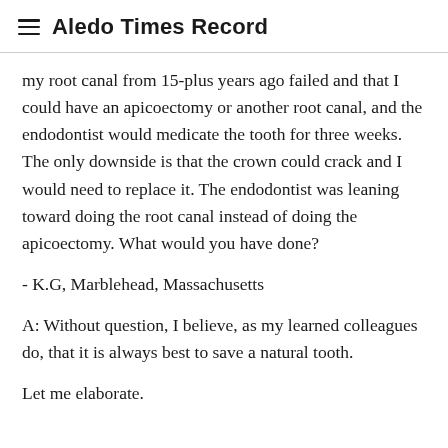Aledo Times Record
my root canal from 15-plus years ago failed and that I could have an apicoectomy or another root canal, and the endodontist would medicate the tooth for three weeks. The only downside is that the crown could crack and I would need to replace it. The endodontist was leaning toward doing the root canal instead of doing the apicoectomy. What would you have done?
- K.G, Marblehead, Massachusetts
A: Without question, I believe, as my learned colleagues do, that it is always best to save a natural tooth.
Let me elaborate.